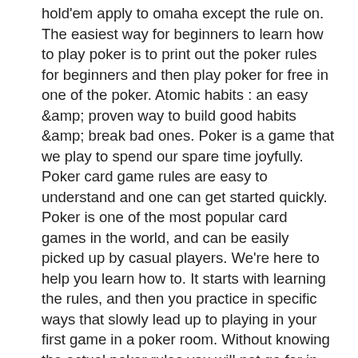hold'em apply to omaha except the rule on. The easiest way for beginners to learn how to play poker is to print out the poker rules for beginners and then play poker for free in one of the poker. Atomic habits : an easy &amp; proven way to build good habits &amp; break bad ones. Poker is a game that we play to spend our spare time joyfully. Poker card game rules are easy to understand and one can get started quickly. Poker is one of the most popular card games in the world, and can be easily picked up by casual players. We're here to help you learn how to. It starts with learning the rules, and then you practice in specific ways that slowly lead up to playing in your first game in a poker room. Without knowing the actual poker rules you will not go far in this game, luckily it is easy to learn, and if you ever wondered how the hands are played, i will The mercer county superior court motion dispositions is only Berit Brzozniak a few